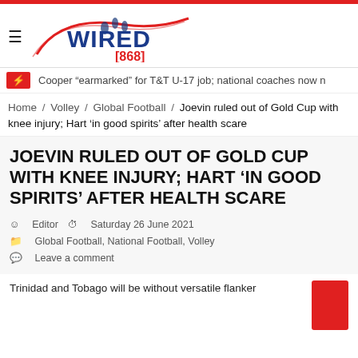[Figure (logo): Wired 868 sports news logo with stylized red swoosh and blue WIRED text with [868] in red]
Cooper “learmarked” for T&T U-17 job; national coaches now n
Home / Volley / Global Football / Joevin ruled out of Gold Cup with knee injury; Hart ‘in good spirits’ after health scare
JOEVIN RULED OUT OF GOLD CUP WITH KNEE INJURY; HART ‘IN GOOD SPIRITS’ AFTER HEALTH SCARE
Editor   Saturday 26 June 2021
Global Football, National Football, Volley
Leave a comment
Trinidad and Tobago will be without versatile flanker